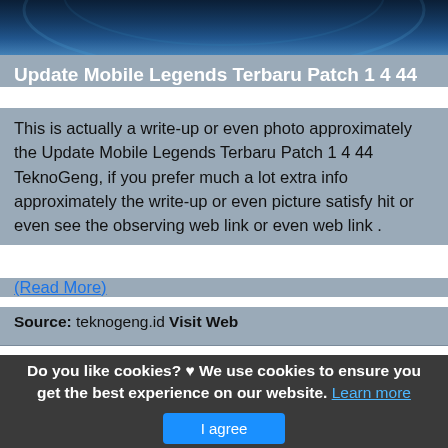[Figure (screenshot): Game screenshot top banner image, blue gradient background for Mobile Legends]
Update Mobile Legends Terbaru Patch 1 4 44
This is actually a write-up or even photo approximately the Update Mobile Legends Terbaru Patch 1 4 44 TeknoGeng, if you prefer much a lot extra info approximately the write-up or even picture satisfy hit or even see the observing web link or even web link .
(Read More)
Source: teknogeng.id Visit Web
[Figure (screenshot): Mobile Legends game screenshot showing a hero with glowing blue energy effects, dark fantasy background, Mobile Legends logo in top-left corner]
Do you like cookies? ♥ We use cookies to ensure you get the best experience on our website. Learn more
I agree